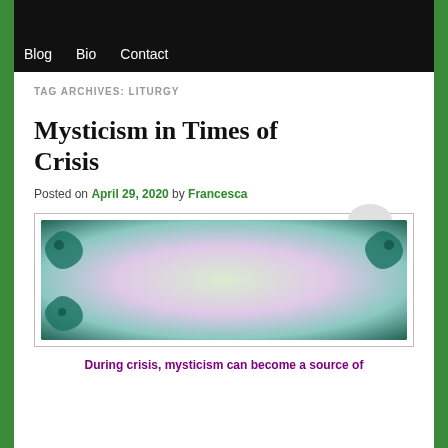Blog   Bio   Contact
TAG ARCHIVES: LITURGY
Mysticism in Times of Crisis
Posted on April 29, 2020 by Francesca
[Figure (illustration): Book cover illustration for 'Mysticism in Times of Crisis' by Francesca De Grandis. Colorful swirling background with teal, pink, green colors. Central white oval with text reading 'Mysticism in Times of Crisis' and 'Francesca De Grandis'.]
During crisis, mysticism can become a source of